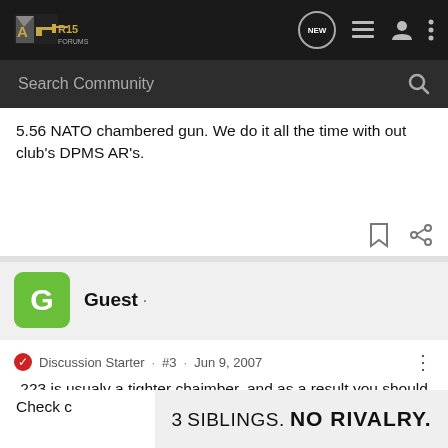AR15Forums - Search Community
5.56 NATO chambered gun. We do it all the time with out club's DPMS AR's.
Guest ·
Discussion Starter · #3 · Jun 9, 2007
.223 is usualy a tighter chaimber, and as a result you should NOT shoot 5.56 out of a .223. But It is generaly ok to shoot .223 out of a 5.56 gun.
Check c... for
[Figure (screenshot): Advertisement banner: '3 SIBLINGS. NO RIVALRY.']